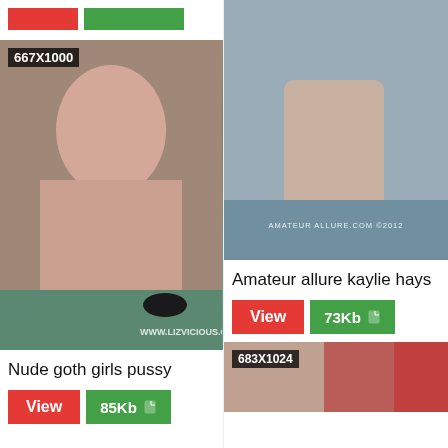[Figure (photo): Partial view of top navigation buttons (red and green) at top of left column]
[Figure (photo): Photo of a nude goth girl with lip tattoo and choker, watermark www.lizvicious.com, label 667X1000]
Nude goth girls pussy
View  85Kb
[Figure (photo): Explicit adult photo with watermark AMATEUR ALLURE.COM 2012]
Amateur allure kaylie hays
View  73Kb
[Figure (photo): Partially visible photo with label 683X1024]